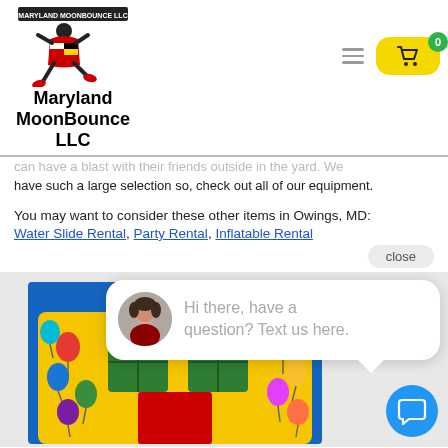[Figure (logo): Maryland MoonBounce LLC logo with Maryland state flag colors on a running/jumping figure, text 'MARYLAND MOONBOUNCE LLC' at top]
Maryland MoonBounce LLC
can have a blast with their friends outside in the yard. We have such a large selection so, check out all of our equipment.
You may want to consider these other items in Owings, MD:
Water Slide Rental, Party Rental, Inflatable Rental
close
[Figure (photo): Colorful yellow bounce house inflatable with balloon graphics visible at bottom of page]
Hi there, have a question? Text us here.